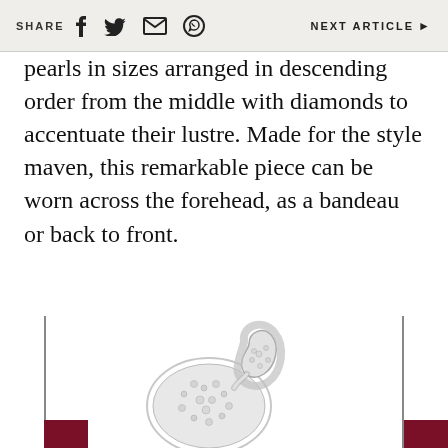SHARE [facebook] [twitter] [mail] [whatsapp]   NEXT ARTICLE ▶
pearls in sizes arranged in descending order from the middle with diamonds to accentuate their lustre. Made for the style maven, this remarkable piece can be worn across the forehead, as a bandeau or back to front.
[Figure (photo): A diamond jewellery piece, appears to be a ring or brooch with pear-shaped and circular diamond clusters set in white gold or silver, photographed on a white background with vertical border lines and burgundy corner squares.]